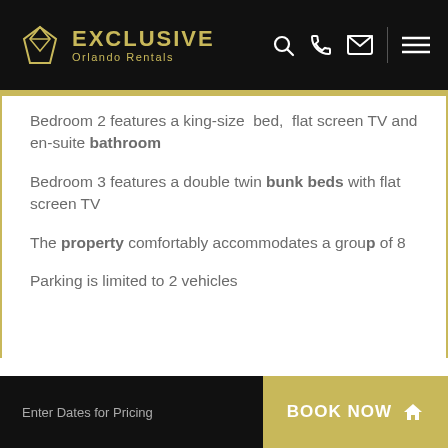EXCLUSIVE Orlando Rentals
Bedroom 2 features a king-size bed, flat screen TV and en-suite bathroom
Bedroom 3 features a double twin bunk beds with flat screen TV
The property comfortably accommodates a group of 8
Parking is limited to 2 vehicles
Enter Dates for Pricing  BOOK NOW